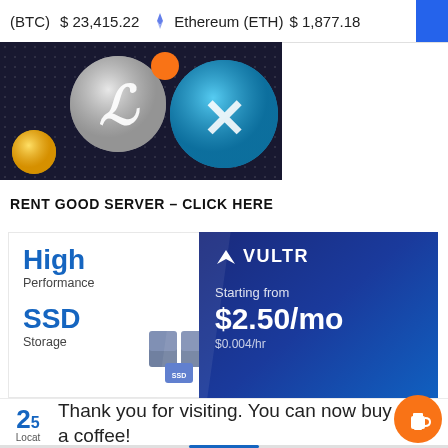(BTC)  $ 23,415.22   Ethereum (ETH)  $ 1,877.18
[Figure (illustration): Cryptocurrency logos on dark background: Litecoin (LTC), XRP, yellow coin, orange dot]
RENT GOOD SERVER – CLICK HERE
[Figure (infographic): Vultr advertisement: High Performance SSD Storage, Starting from $2.50/mo, $0.004/hr]
Thank you for visiting. You can now buy me a coffee!